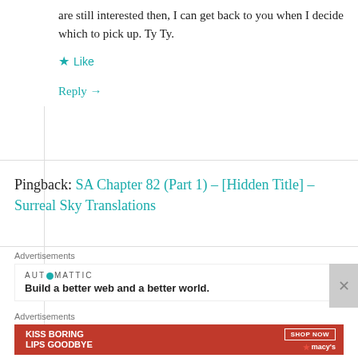are still interested then, I can get back to you when I decide which to pick up. Ty Ty.
Like
Reply →
Pingback: SA Chapter 82 (Part 1) – [Hidden Title] – Surreal Sky Translations
Advertisements
[Figure (logo): Automattic logo and tagline: Build a better web and a better world.]
Advertisements
[Figure (illustration): Macy's advertisement: KISS BORING LIPS GOODBYE with SHOP NOW button and Macy's logo with red star]